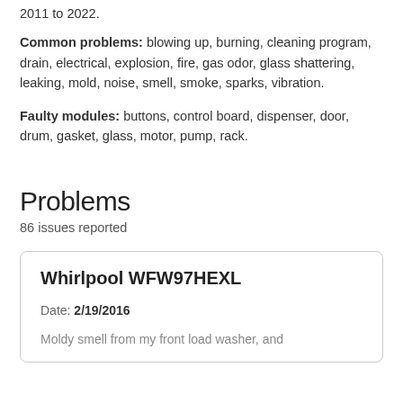2011 to 2022.
Common problems: blowing up, burning, cleaning program, drain, electrical, explosion, fire, gas odor, glass shattering, leaking, mold, noise, smell, smoke, sparks, vibration.
Faulty modules: buttons, control board, dispenser, door, drum, gasket, glass, motor, pump, rack.
Problems
86 issues reported
Whirlpool WFW97HEXL
Date: 2/19/2016
Moldy smell from my front load washer, and